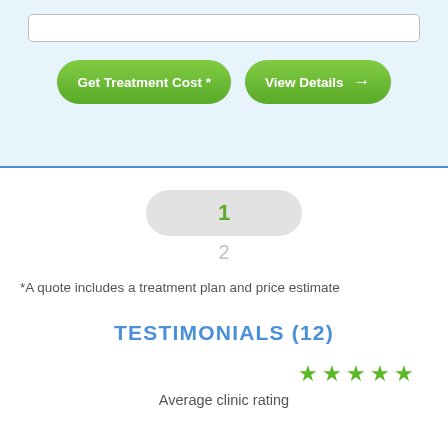[Figure (screenshot): Top blue section with an input bar and two green rounded buttons: 'Get Treatment Cost *' and 'View Details →']
[Figure (infographic): Pagination pills showing active page 1 (green, highlighted in grey pill) and inactive page 2 (grey)]
*A quote includes a treatment plan and price estimate
TESTIMONIALS (12)
[Figure (infographic): Five green star rating icons]
Average clinic rating